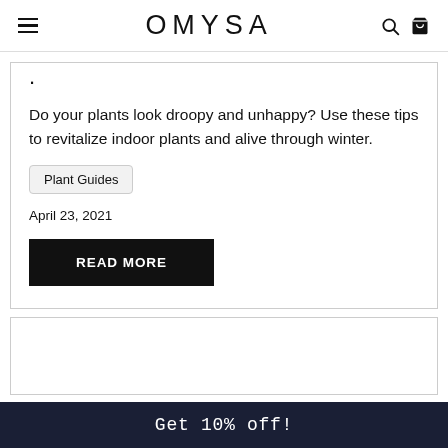OMYSA
Do your plants look droopy and unhappy? Use these tips to revitalize indoor plants and alive through winter.
Plant Guides
April 23, 2021
READ MORE
Get 10% off!